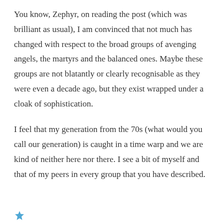You know, Zephyr, on reading the post (which was brilliant as usual), I am convinced that not much has changed with respect to the broad groups of avenging angels, the martyrs and the balanced ones. Maybe these groups are not blatantly or clearly recognisable as they were even a decade ago, but they exist wrapped under a cloak of sophistication.
I feel that my generation from the 70s (what would you call our generation) is caught in a time warp and we are kind of neither here nor there. I see a bit of myself and that of my peers in every group that you have described.